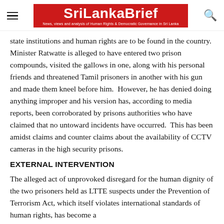SriLankaBrief — News, views and analysis of Human Rights & Democratic Governance in Sri Lanka
state institutions and human rights are to be found in the country.  Minister Ratwatte is alleged to have entered two prison compounds, visited the gallows in one, along with his personal friends and threatened Tamil prisoners in another with his gun and made them kneel before him.  However, he has denied doing anything improper and his version has, according to media reports, been corroborated by prisons authorities who have claimed that no untoward incidents have occurred.  This has been amidst claims and counter claims about the availability of CCTV cameras in the high security prisons.
EXTERNAL INTERVENTION
The alleged act of unprovoked disregard for the human dignity of the two prisoners held as LTTE suspects under the Prevention of Terrorism Act, which itself violates international standards of human rights, has become a